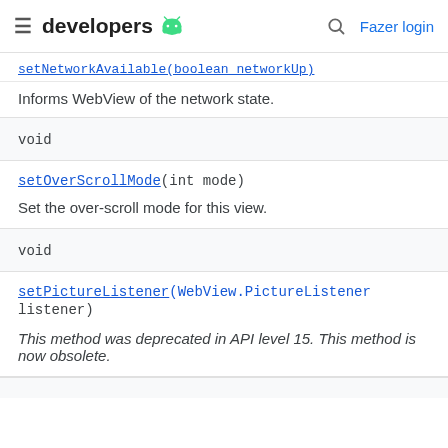developers [android logo] | [search] Fazer login
setNetworkAvailable(boolean networkUp)
Informs WebView of the network state.
void
setOverScrollMode(int mode)
Set the over-scroll mode for this view.
void
setPictureListener(WebView.PictureListener listener)
This method was deprecated in API level 15. This method is now obsolete.